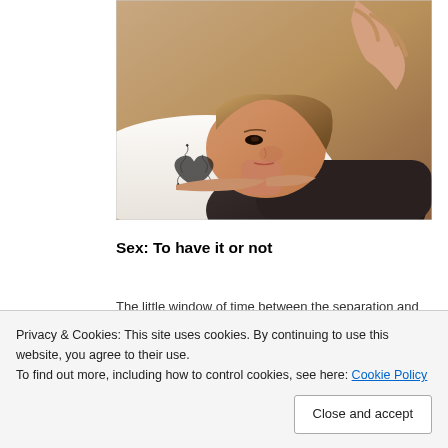[Figure (photo): A woman lying down looking sad or contemplative, with a hand touching her shoulder from behind. There is an ornate heart design visible on a white pillow near her face.]
Sex: To have it or not
The little window of time between the separation and divorce is very significant; a lot of important things can happen. It is also when a definite decision will be made to either save or kill the marriage. Many times, you will be willing to do whatever you need to do to keep your family together: including having sex with
Privacy & Cookies: This site uses cookies. By continuing to use this website, you agree to their use.
To find out more, including how to control cookies, see here: Cookie Policy
[Close and accept]